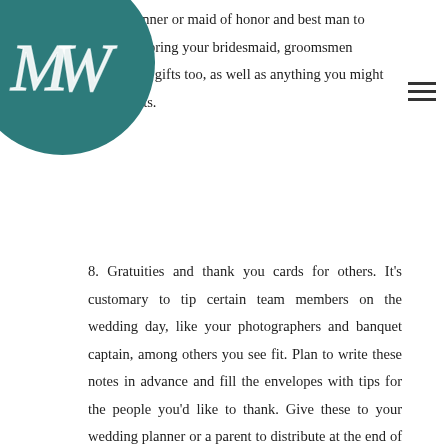[Figure (logo): Teal circular logo with MW monogram letters in white serif font]
dding planner or maid of honor and best man to be sure to bring your bridesmaid, groomsmen ring bearer gifts too, as well as anything you might our parents.
8. Gratuities and thank you cards for others. It's customary to tip certain team members on the wedding day, like your photographers and banquet captain, among others you see fit. Plan to write these notes in advance and fill the envelopes with tips for the people you'd like to thank. Give these to your wedding planner or a parent to distribute at the end of the evening.
9. Your wedding night essentials. Obviously when hosting a destination wedding, these goodies will be packed away ahead of time. But if you're getting married in your hometown, you'll want your overnight bag ready to go too. Any lingerie you were gifted at your shower and the usual essentials you use at bedtime and